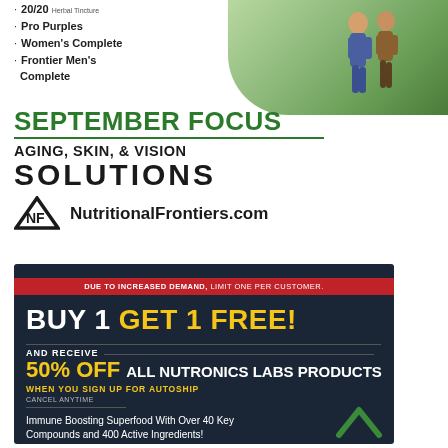20/20 Herbal Tincture
Pro Purples
Women's Complete
Frontier Men's Complete
SEPTEMBER FOCUS
AGING, SKIN, & VISION SOLUTIONS
NutritionalFrontiers.com
DUE TO INCREASED DEMAND, LIMIT ONE PER CUSTOMER.
BUY 1 GET 1 FREE!
AND RECEIVE
50% OFF ALL NUTRONICS LABS PRODUCTS
WHEN YOU SIGN UP FOR AUTOSHIP
CANCEL ANYTIME
Immune Boosting Superfood With Over 40 Key Compounds and 400 Active Ingredients!